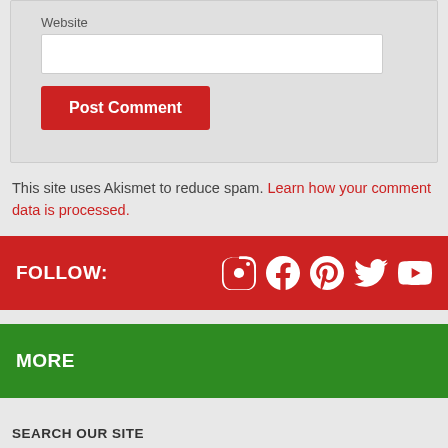Website
Post Comment
This site uses Akismet to reduce spam. Learn how your comment data is processed.
FOLLOW:
[Figure (infographic): Social media icons: Instagram, Facebook, Pinterest, Twitter, YouTube on red bar]
MORE
SEARCH OUR SITE
Search ...